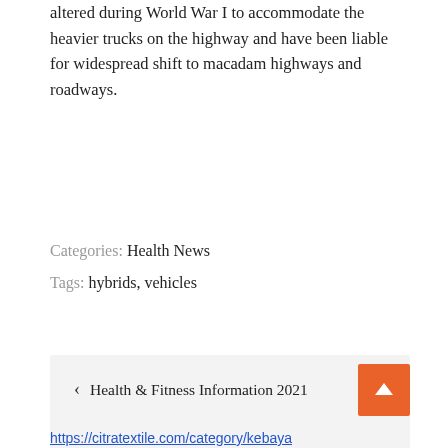altered during World War I to accommodate the heavier trucks on the highway and have been liable for widespread shift to macadam highways and roadways.
Categories: Health News
Tags: hybrids, vehicles
< Health & Fitness Information 2021
Clinics And Legal Externships >
https://citratextile.com/category/kebaya